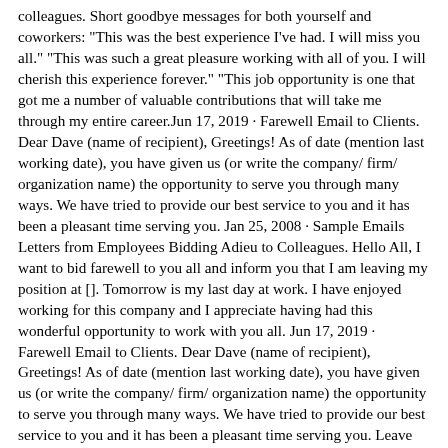colleagues. Short goodbye messages for both yourself and coworkers: "This was the best experience I've had. I will miss you all." "This was such a great pleasure working with all of you. I will cherish this experience forever." "This job opportunity is one that got me a number of valuable contributions that will take me through my entire career.Jun 17, 2019 · Farewell Email to Clients. Dear Dave (name of recipient), Greetings! As of date (mention last working date), you have given us (or write the company/ firm/ organization name) the opportunity to serve you through many ways. We have tried to provide our best service to you and it has been a pleasant time serving you. Jan 25, 2008 · Sample Emails Letters from Employees Bidding Adieu to Colleagues. Hello All, I want to bid farewell to you all and inform you that I am leaving my position at []. Tomorrow is my last day at work. I have enjoyed working for this company and I appreciate having had this wonderful opportunity to work with you all. Jun 17, 2019 · Farewell Email to Clients. Dear Dave (name of recipient), Greetings! As of date (mention last working date), you have given us (or write the company/ firm/ organization name) the opportunity to serve you through many ways. We have tried to provide our best service to you and it has been a pleasant time serving you. Leave the door open. Finally,make sure to leave the door open by letting people know that they can contact you on a personal email address or via social media ; Focus on the positives. Be brief. What is the best way to say goodbye to co-workers? Ways to say farewell to co-workers.Use a card. A goodbye card is a simple way to sho...